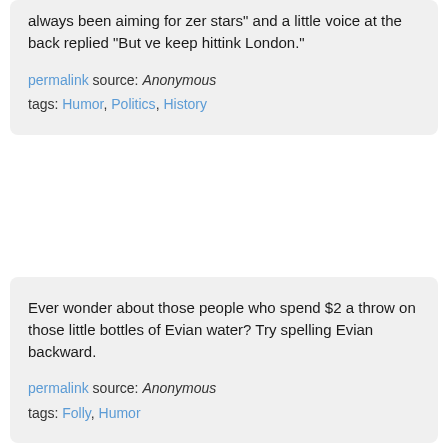always been aiming for zer stars" and a little voice at the back replied "But ve keep hittink London."
permalink source: Anonymous
tags: Humor, Politics, History
Ever wonder about those people who spend $2 a throw on those little bottles of Evian water? Try spelling Evian backward.
permalink source: Anonymous
tags: Folly, Humor
Haircuts - The difference between men and women: * Women's Version: * Woman 2: Oh! You got a haircut! That's so cuuuuute! Woman 1: Do you think so? I wasn't sure when she gave me the mirror. I mean, you don't think it's too fluffy looking? Woman 2: Oh no, it's perfect! I'd love to